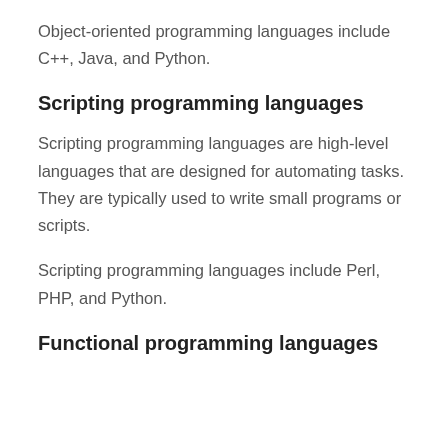Object-oriented programming languages include C++, Java, and Python.
Scripting programming languages
Scripting programming languages are high-level languages that are designed for automating tasks. They are typically used to write small programs or scripts.
Scripting programming languages include Perl, PHP, and Python.
Functional programming languages